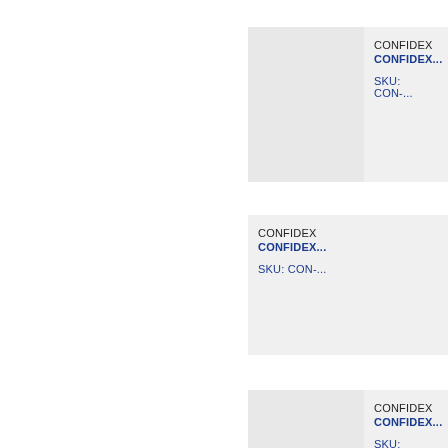[Figure (other): Product card 1 with image placeholder and text showing CONFIDEX product name and SKU starting with CON-]
[Figure (other): Product card 2 with text only showing CONFIDEX product name and SKU starting with CON-]
[Figure (other): Product card 3 with image placeholder and text showing CONFIDEX product name and SKU starting with CON-]